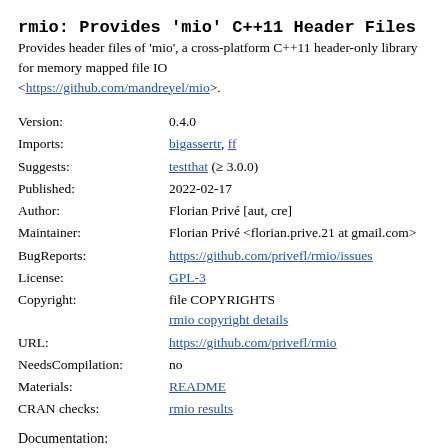rmio: Provides 'mio' C++11 Header Files
Provides header files of 'mio', a cross-platform C++11 header-only library for memory mapped file IO <https://github.com/mandreyel/mio>.
| Field | Value |
| --- | --- |
| Version: | 0.4.0 |
| Imports: | bigassertr, ff |
| Suggests: | testthat (≥ 3.0.0) |
| Published: | 2022-02-17 |
| Author: | Florian Privé [aut, cre] |
| Maintainer: | Florian Privé <florian.prive.21 at gmail.com> |
| BugReports: | https://github.com/privefl/rmio/issues |
| License: | GPL-3 |
| Copyright: | file COPYRIGHTS
rmio copyright details |
| URL: | https://github.com/privefl/rmio |
| NeedsCompilation: | no |
| Materials: | README |
| CRAN checks: | rmio results |
Documentation: